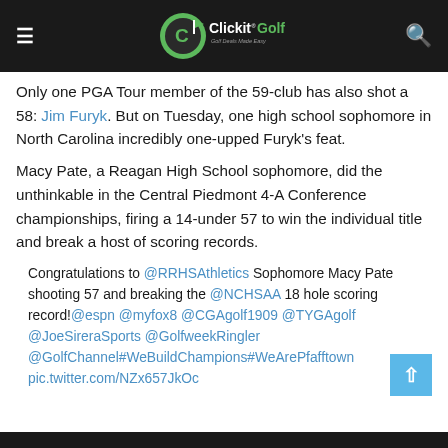ClickitGolf - Golf Deals Made Easy
Only one PGA Tour member of the 59-club has also shot a 58: Jim Furyk. But on Tuesday, one high school sophomore in North Carolina incredibly one-upped Furyk's feat.
Macy Pate, a Reagan High School sophomore, did the unthinkable in the Central Piedmont 4-A Conference championships, firing a 14-under 57 to win the individual title and break a host of scoring records.
Congratulations to @RRHSAthletics Sophomore Macy Pate shooting 57 and breaking the @NCHSAA 18 hole scoring record!@espn @myfox8 @CGAgolf1909 @TYGAgolf @JoeSireraSports @GolfweekRingler @GolfChannel#WeBuildChampions#WeArePfafftown pic.twitter.com/NZx657JkOc